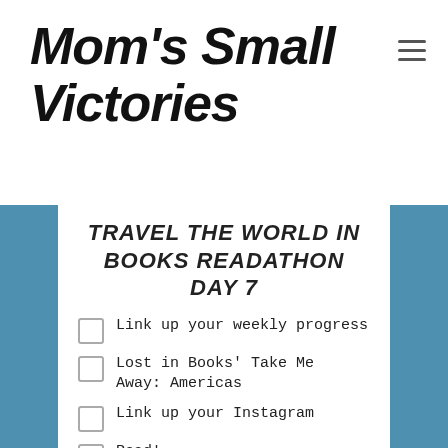Mom's Small Victories
TRAVEL THE WORLD IN BOOKS READATHON DAY 7
Link up your weekly progress
Lost in Books' Take Me Away: Americas
Link up your Instagram
Read!